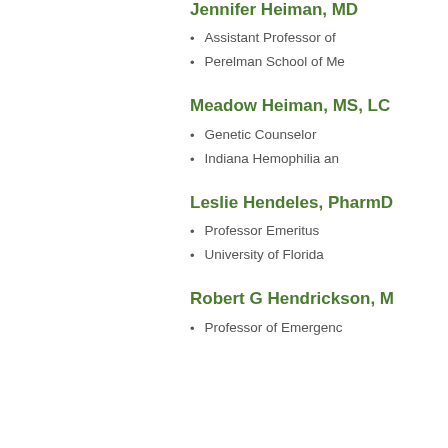Jennifer Heiman, MD
Assistant Professor of
Perelman School of Me
Meadow Heiman, MS, LC
Genetic Counselor
Indiana Hemophilia an
Leslie Hendeles, PharmD
Professor Emeritus
University of Florida
Robert G Hendrickson, M
Professor of Emergenc